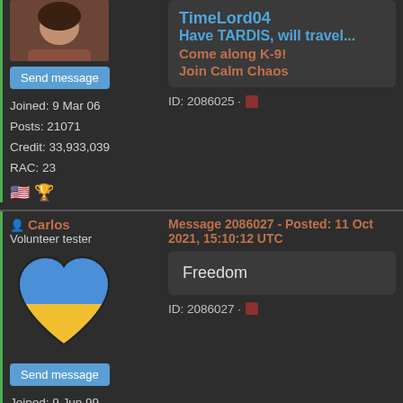[Figure (photo): Profile photo of a person (partially visible, cropped) at top left]
Send message
Joined: 9 Mar 06
Posts: 21071
Credit: 33,933,039
RAC: 23
[Figure (illustration): US flag and trophy emoji icons]
TimeLord04
Have TARDIS, will travel...
Come along K-9!
Join Calm Chaos
ID: 2086025 ·
Carlos
Volunteer tester
[Figure (illustration): Ukraine flag heart - blue and yellow heart shape]
Send message
Joined: 9 Jun 99
Posts: 27884
Credit: 57,275,487
RAC: 157
Message 2086027 - Posted: 11 Oct 2021, 15:10:12 UTC
Freedom
ID: 2086027 ·